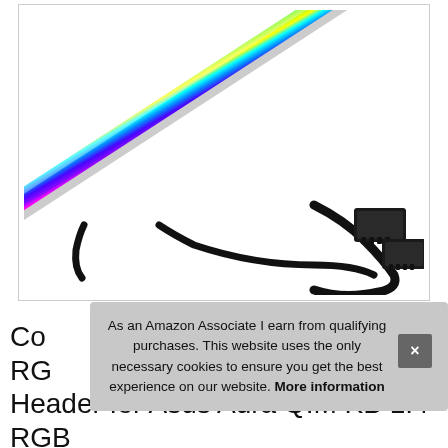[Figure (photo): An RGB LED light strip bar showing a rainbow gradient spectrum from red/magenta on the bottom-left to green/yellow on the top-right, with a black cable and two connectors visible at the right end.]
As an Amazon Associate I earn from qualifying purchases. This website uses the only necessary cookies to ensure you get the best experience on our website. More information
Co... RG... Header for Asus Aura GIM KB 1.4 RGB